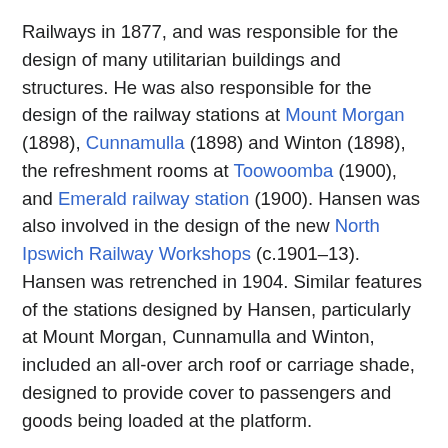Railways in 1877, and was responsible for the design of many utilitarian buildings and structures. He was also responsible for the design of the railway stations at Mount Morgan (1898), Cunnamulla (1898) and Winton (1898), the refreshment rooms at Toowoomba (1900), and Emerald railway station (1900). Hansen was also involved in the design of the new North Ipswich Railway Workshops (c.1901–13). Hansen was retrenched in 1904. Similar features of the stations designed by Hansen, particularly at Mount Morgan, Cunnamulla and Winton, included an all-over arch roof or carriage shade, designed to provide cover to passengers and goods being loaded at the platform.
The tender for construction of the Rockhampton Junction Railway was awarded to GC Willcocks in 1897. The contract involved the construction of the branch to